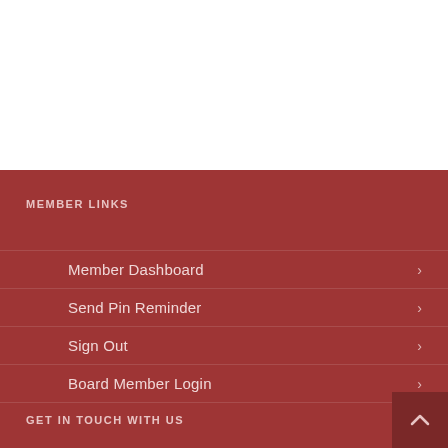MEMBER LINKS
Member Dashboard
Send Pin Reminder
Sign Out
Board Member Login
GET IN TOUCH WITH US